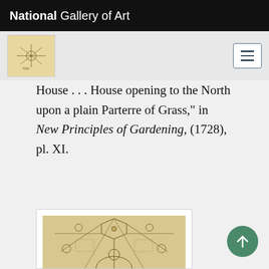National Gallery of Art
House . . . House opening to the North upon a plain Parterre of Grass," in New Principles of Gardening, (1728), pl. XI.
[Figure (illustration): Garden plan engraving showing formal geometric garden layout with parterres, pathways, and ornamental plantings viewed from above, from New Principles of Gardening (1728), pl. XI.]